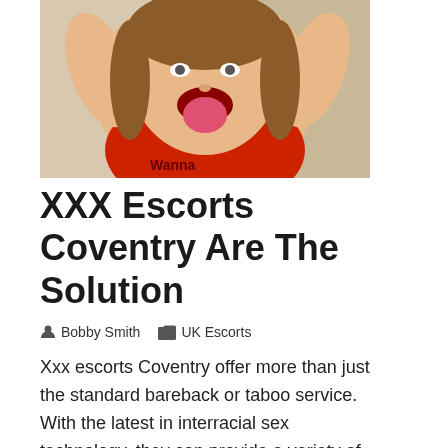[Figure (photo): A person wearing a red top sticking out their tongue with hands raised near their head, photo taken indoors.]
XXX Escorts Coventry Are The Solution
Bobby Smith   UK Escorts
Xxx escorts Coventry offer more than just the standard bareback or taboo service. With the latest in interracial sex technology, they can provide a variety of services to satisfy your sexual desires. If you are looking for a local escort agency, then look no further than XXX escorts